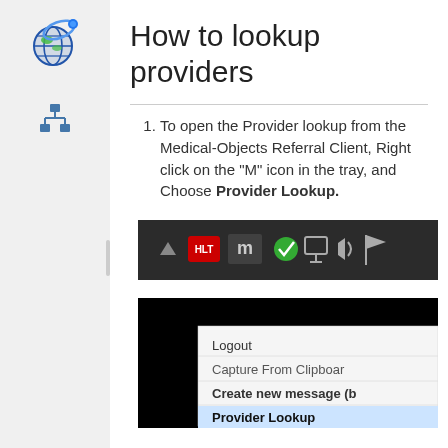How to lookup providers
To open the Provider lookup from the Medical-Objects Referral Client, Right click on the "M" icon in the tray, and Choose Provider Lookup.
[Figure (screenshot): Windows system tray showing icons including a red HLT icon, an 'm' icon, a green checkmark, and other system tray icons on a dark background.]
[Figure (screenshot): Context menu showing options: Logout, Capture From Clipboard, Create new message (b...), and Provider Lookup (highlighted in blue).]